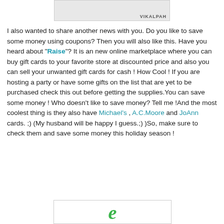[Figure (other): Top partial image with VIKALPAH watermark text on gray background]
I also wanted to share another news with you. Do you like to save some money using coupons? Then you will also like this. Have you heard about "Raise"? It is an new online marketplace where you can buy gift cards to your favorite store at discounted price and also you can sell your unwanted gift cards for cash ! How Cool ! If you are hosting a party or have some gifts on the list that are yet to be purchased check this out before getting the supplies.You can save some money ! Who doesn't like to save money? Tell me !And the most coolest thing is they also have Michael's , A.C.Moore and JoAnn cards. ;) (My husband will be happy I guess.;) )So, make sure to check them and save some money this holiday season !
[Figure (logo): Raise logo — stylized green letter e on white background]